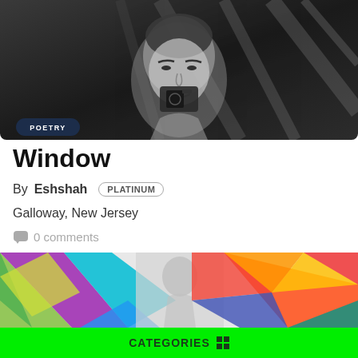[Figure (photo): Black and white photograph of a young woman with dark hair looking into a camera, with diagonal lines in the background. A 'POETRY' badge is overlaid on the bottom left.]
Window
By Eshshah PLATINUM
Galloway, New Jersey
0 comments
[Figure (illustration): Colorful illustration with geometric colored triangles and shapes fanning out around a central figure, using greens, purples, blues, oranges, reds, and yellows.]
CATEGORIES